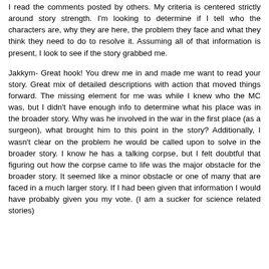I read the comments posted by others. My criteria is centered strictly around story strength. I'm looking to determine if I tell who the characters are, why they are here, the problem they face and what they think they need to do to resolve it. Assuming all of that information is present, I look to see if the story grabbed me.
Jakkym- Great hook! You drew me in and made me want to read your story. Great mix of detailed descriptions with action that moved things forward. The missing element for me was while I knew who the MC was, but I didn't have enough info to determine what his place was in the broader story. Why was he involved in the war in the first place (as a surgeon), what brought him to this point in the story? Additionally, I wasn't clear on the problem he would be called upon to solve in the broader story. I know he has a talking corpse, but I felt doubtful that figuring out how the corpse came to life was the major obstacle for the broader story. It seemed like a minor obstacle or one of many that are faced in a much larger story. If I had been given that information I would have probably given you my vote. (I am a sucker for science related stories)